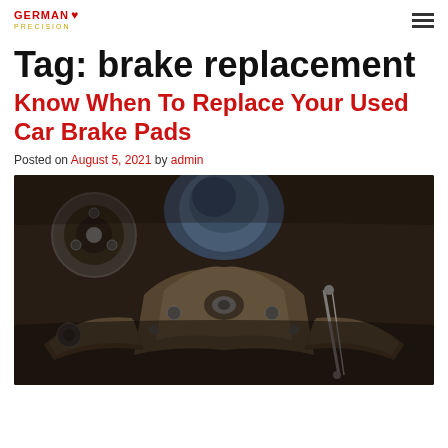German Precision [logo]
Tag: brake replacement
Know When To Replace Your Used Car Brake Pads
Posted on August 5, 2021 by admin
[Figure (photo): Underside of a car showing brake and suspension components, including brake disc hub, control arms, and various metal brake parts, dark and dusty environment]